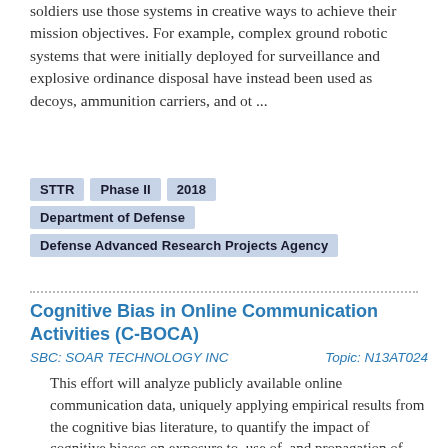soldiers use those systems in creative ways to achieve their mission objectives. For example, complex ground robotic systems that were initially deployed for surveillance and explosive ordinance disposal have instead been used as decoys, ammunition carriers, and ot ...
STTR
Phase II
2018
Department of Defense
Defense Advanced Research Projects Agency
Cognitive Bias in Online Communication Activities (C-BOCA)
SBC: SOAR TECHNOLOGY INC        Topic: N13AT024
This effort will analyze publicly available online communication data, uniquely applying empirical results from the cognitive bias literature, to quantify the impact of cognitive biases on exposure to, use of, and propagation of online information. SoarTech, with its partners, will develop and evaluate methods to identify and